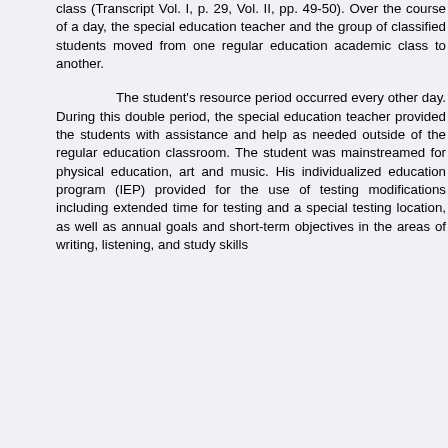class (Transcript Vol. I, p. 29, Vol. II, pp. 49-50). Over the course of a day, the special education teacher and the group of classified students moved from one regular education academic class to another.
The student's resource period occurred every other day. During this double period, the special education teacher provided the students with assistance and help as needed outside of the regular education classroom. The student was mainstreamed for physical education, art and music. His individualized education program (IEP) provided for the use of testing modifications including extended time for testing and a special testing location, as well as annual goals and short-term objectives in the areas of writing, listening, and study skills